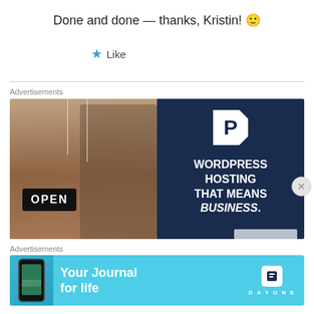Done and done — thanks, Kristin! 🙂
★ Like
Advertisements
[Figure (photo): WordPress hosting advertisement showing a smiling person holding an OPEN sign on the left, and navy blue panel on the right with a large P logo and text WORDPRESS HOSTING THAT MEANS BUSINESS.]
Advertisements
[Figure (infographic): Day One app advertisement on a light blue background showing a phone with the app, text 'Your Journal for life', and the Day One logo on the right.]